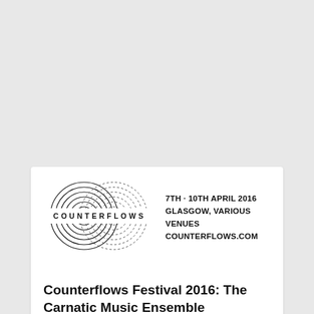[Figure (logo): Counterflows festival logo: two overlapping concentric circle groups with the word COUNTERFLOWS across the middle, alongside text reading '7TH - 10TH APRIL 2016 / GLASGOW, VARIOUS VENUES / COUNTERFLOWS.COM']
Counterflows Festival 2016: The Carnatic Music Ensemble
April 10, 2016